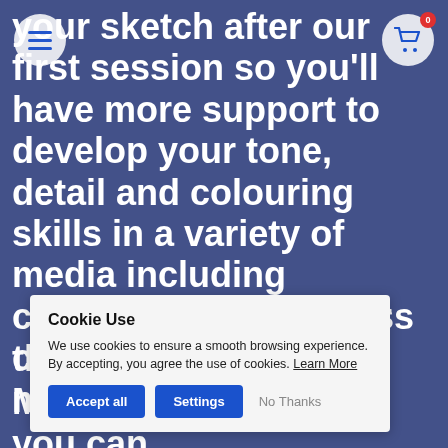[Figure (screenshot): Website screenshot with blurred artistic background (coloured pencil/painting artwork) overlaid with dark blue tint, showing navigation elements and large white bold text content about art skills courses.]
your sketch after our first session so you'll have more support to develop your tone, detail and colouring skills in a variety of media including coloured pencil, water colour, acrylic and more.
cess the Zoom or rday Member's mail so that you can
Cookie Use
We use cookies to ensure a smooth browsing experience. By accepting, you agree the use of cookies. Learn More
[Accept all] [Settings] No Thanks